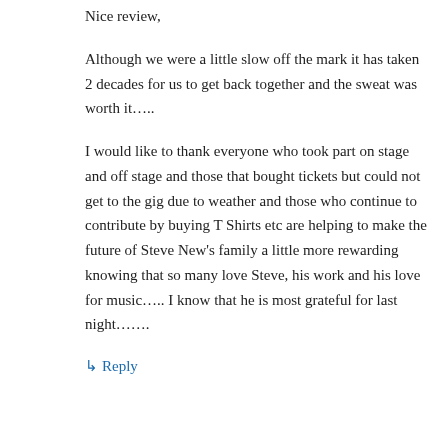Nice review,
Although we were a little slow off the mark it has taken 2 decades for us to get back together and the sweat was worth it…..
I would like to thank everyone who took part on stage and off stage and those that bought tickets but could not get to the gig due to weather and those who continue to contribute by buying T Shirts etc are helping to make the future of Steve New's family a little more rewarding knowing that so many love Steve, his work and his love for music….. I know that he is most grateful for last night…….
↳ Reply